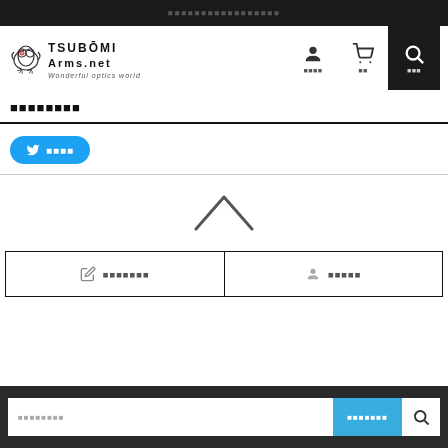TSUBOMI Arms.net - Wonderful optics world
ページが見つかりません
ツイートする
[Figure (illustration): Upward chevron / back to top arrow icon]
ショッピングを続ける | ログインする
キーワードを入力 | カテゴリから検索 | 検索